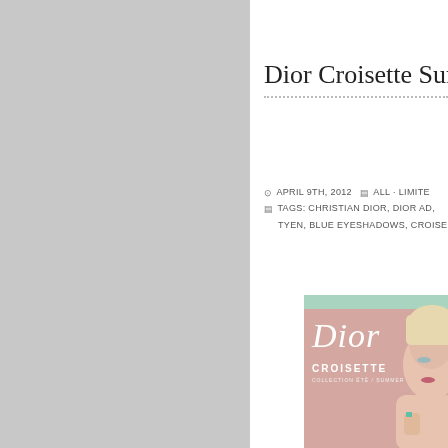[Figure (illustration): Gray left sidebar panel, likely a sidebar navigation or image placeholder]
Dior Croisette Summ
APRIL 9TH, 2012   ALL · LIMITE
TAGS: CHRISTIAN DIOR, DIOR AD, TYEN, BLUE EYESHADOWS, CROISE
[Figure (photo): Dior Croisette Collection Summer 2012 advertisement showing a blonde woman with dramatic eye makeup, pink background with teal top strip, Dior logo and CROISETTE text overlay, turquoise nail polish]